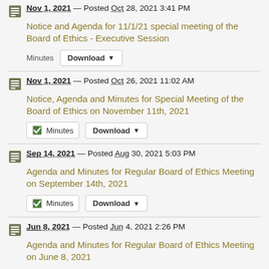Nov 1, 2021 — Posted Oct 28, 2021 3:41 PM
Notice and Agenda for 11/1/21 special meeting of the Board of Ethics - Executive Session
Minutes Download
Nov 1, 2021 — Posted Oct 26, 2021 11:02 AM
Notice, Agenda and Minutes for Special Meeting of the Board of Ethics on November 11th, 2021
Minutes Download
Sep 14, 2021 — Posted Aug 30, 2021 5:03 PM
Agenda and Minutes for Regular Board of Ethics Meeting on September 14th, 2021
Minutes Download
Jun 8, 2021 — Posted Jun 4, 2021 2:26 PM
Agenda and Minutes for Regular Board of Ethics Meeting on June 8, 2021